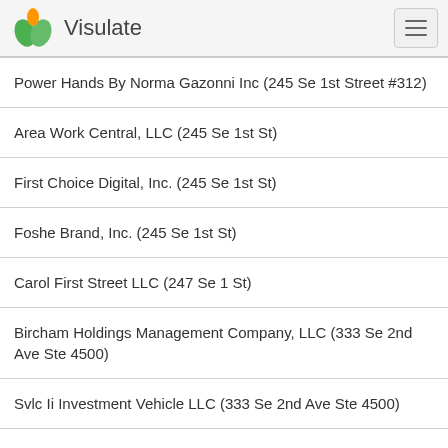Visulate
Power Hands By Norma Gazonni Inc (245 Se 1st Street #312)
Area Work Central, LLC (245 Se 1st St)
First Choice Digital, Inc. (245 Se 1st St)
Foshe Brand, Inc. (245 Se 1st St)
Carol First Street LLC (247 Se 1 St)
Bircham Holdings Management Company, LLC (333 Se 2nd Ave Ste 4500)
Svlc Ii Investment Vehicle LLC (333 Se 2nd Ave Ste 4500)
L'Atelier Z, LLC (333 Se 2nd Ave Ste 4500)
White Lynx, LLC (333 Se 2nd Ave Ste 4500)
4301 Bk LLC (333 Se 2nd Ave Ste 4500)